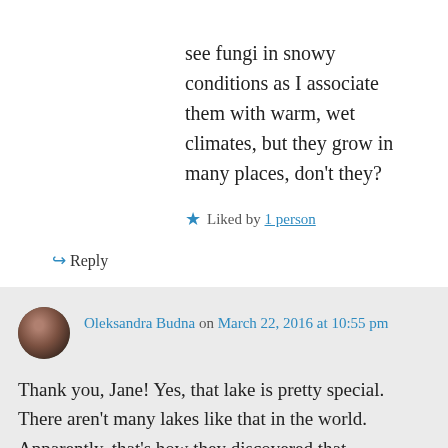see fungi in snowy conditions as I associate them with warm, wet climates, but they grow in many places, don't they?
Liked by 1 person
Reply
Oleksandra Budna on March 22, 2016 at 10:55 pm
Thank you, Jane! Yes, that lake is pretty special. There aren't many lakes like that in the world. Apparently, that's how they discovered that indigenous people used to live around the lake because they found corn pollen at the bottom, which meant